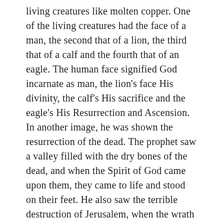living creatures like molten copper. One of the living creatures had the face of a man, the second that of a lion, the third that of a calf and the fourth that of an eagle. The human face signified God incarnate as man, the lion's face His divinity, the calf's His sacrifice and the eagle's His Resurrection and Ascension. In another image, he was shown the resurrection of the dead. The prophet saw a valley filled with the dry bones of the dead, and when the Spirit of God came upon them, they came to life and stood on their feet. He also saw the terrible destruction of Jerusalem, when the wrath of God cut down all except those who had earlier been marked with the mark, that of the Greek Tav, our letter 'T', which is also